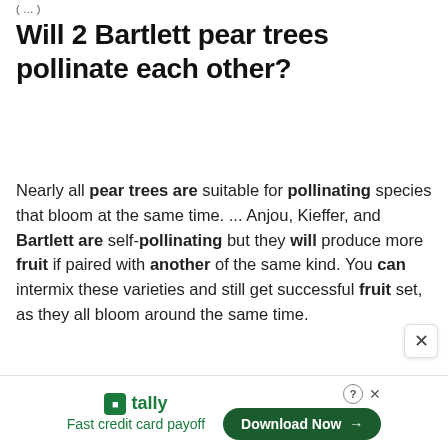(… continued …)
Will 2 Bartlett pear trees pollinate each other?
Nearly all pear trees are suitable for pollinating species that bloom at the same time. ... Anjou, Kieffer, and Bartlett are self-pollinating but they will produce more fruit if paired with another of the same kind. You can intermix these varieties and still get successful fruit set, as they all bloom around the same time.